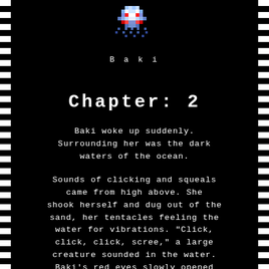[Figure (illustration): Pixel art sprite of a creature named Baki — appears to be a small blue and white pixel art monster with red eyes and tentacles.]
B a k i
[Figure (other): A horizontal rainbow gradient divider bar.]
Chapter: 2
Baki woke up suddenly. Surrounding her was the dark waters of the ocean.
Sounds of clicking and squeals came from high above. She shook herself and dug out of the sand, her tentacles feeling the water for vibrations. "Click, click, click, scree," a large creature sounded in the water. Baki's red eyes slowly opened